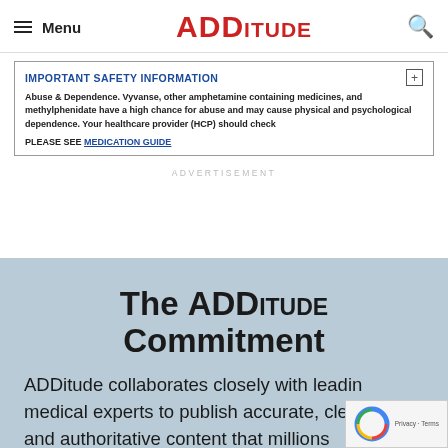Menu | ADDitude
IMPORTANT SAFETY INFORMATION
Abuse & Dependence. Vyvanse, other amphetamine containing medicines, and methylphenidate have a high chance for abuse and may cause physical and psychological dependence. Your healthcare provider (HCP) should check
PLEASE SEE MEDICATION GUIDE
ADVERTISEMENT
The ADDitude Commitment
ADDitude collaborates closely with leading medical experts to publish accurate, clear, and authoritative content that millions of readers trust and share.